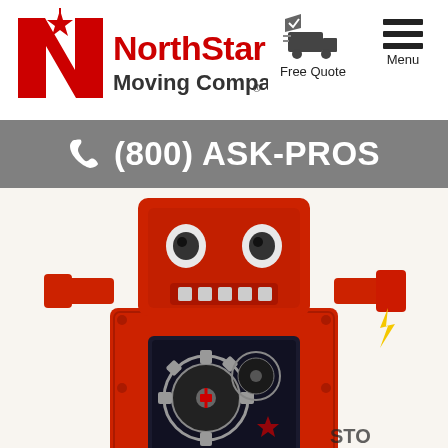[Figure (logo): NorthStar Moving Company logo in red with stylized N and star]
[Figure (logo): Free Quote icon - moving truck with checkmark]
[Figure (logo): Menu icon - three horizontal lines hamburger menu]
Free Quote
Menu
(800) ASK-PROS
[Figure (photo): Close-up photo of a red vintage toy robot with gears visible in its chest panel, white background]